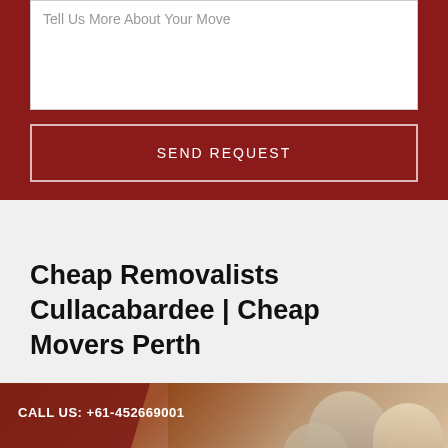Tell Us More About Your Move
SEND REQUEST
Cheap Removalists Cullacabardee | Cheap Movers Perth
[Figure (photo): Banner image with dark red overlay on left, people packing boxes on right, call us text and phone number, bottom orange bar with 'Best Moving Services in Cullacabardee']